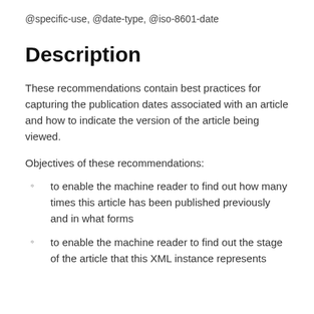@specific-use, @date-type, @iso-8601-date
Description
These recommendations contain best practices for capturing the publication dates associated with an article and how to indicate the version of the article being viewed.
Objectives of these recommendations:
to enable the machine reader to find out how many times this article has been published previously and in what forms
to enable the machine reader to find out the stage of the article that this XML instance represents